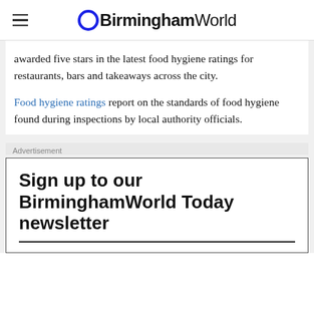BirminghamWorld
awarded five stars in the latest food hygiene ratings for restaurants, bars and takeaways across the city.
Food hygiene ratings report on the standards of food hygiene found during inspections by local authority officials.
Advertisement
Sign up to our BirminghamWorld Today newsletter